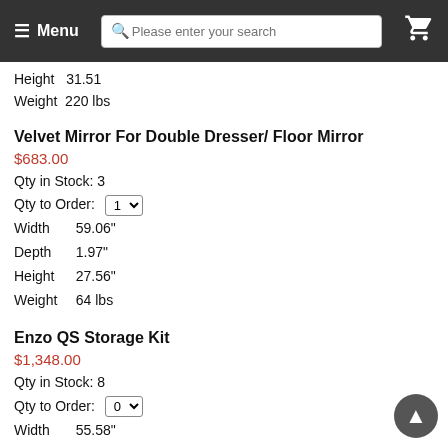Menu | Please enter your search | Cart
Height  31.51
Weight  220 lbs
Velvet Mirror For Double Dresser/ Floor Mirror
$683.00
Qty in Stock: 3
Qty to Order: 1
Width    59.06"
Depth    1.97"
Height   27.56"
Weight   64 lbs
Enzo QS Storage Kit
$1,348.00
Qty in Stock: 8
Qty to Order: 0
Width    55.58"
Depth    90.55"
Height   11"
Weight   220 lbs